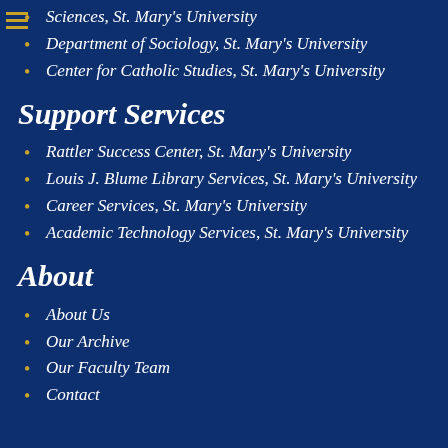Sciences, St. Mary's University
Department of Sociology, St. Mary's University
Center for Catholic Studies, St. Mary's University
Support Services
Rattler Success Center, St. Mary's University
Louis J. Blume Library Services, St. Mary's University
Career Services, St. Mary's University
Academic Technology Services, St. Mary's University
About
About Us
Our Archive
Our Faculty Team
Contact